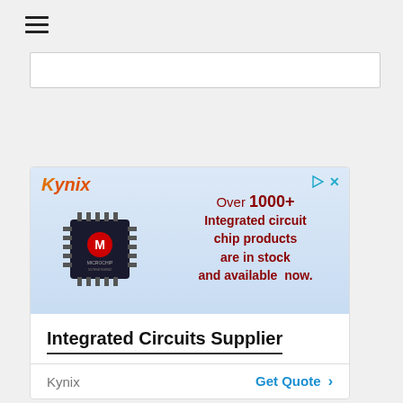[Figure (other): Hamburger menu icon (three horizontal lines)]
[Figure (other): Search bar input area, empty, with white background and border]
[Figure (other): Kynix advertisement banner showing a Microchip integrated circuit chip with text: Over 1000+ Integrated circuit chip products are in stock and available now. Below the banner: title 'Integrated Circuits Supplier', brand 'Kynix', and 'Get Quote >' CTA link.]